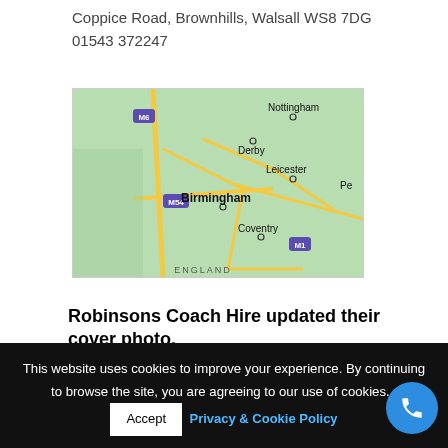Coppice Road, Brownhills, Walsall WS8 7DG
01543 372247
[Figure (map): Google Maps view showing the English Midlands region with cities Birmingham, Coventry, Derby, Nottingham, Leicester and motorway labels M6, M54, M1 visible.]
Robinsons Coach Hire updated their cover photo.
This website uses cookies to improve your experience. By continuing to browse the site, you are agreeing to our use of cookies.
Accept
Privacy & Cookie Policy